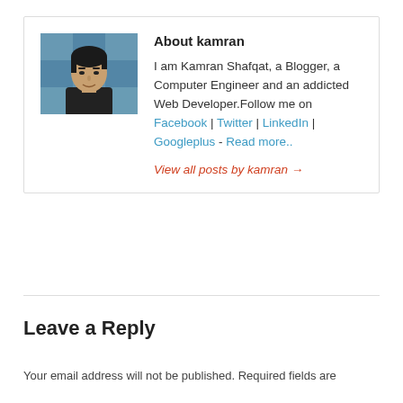[Figure (photo): Profile photo of Kamran Shafqat, a young man with dark hair wearing a dark shirt, with a decorative blue background]
About kamran
I am Kamran Shafqat, a Blogger, a Computer Engineer and an addicted Web Developer.Follow me on Facebook | Twitter | LinkedIn | Googleplus - Read more..
View all posts by kamran →
Leave a Reply
Your email address will not be published. Required fields are